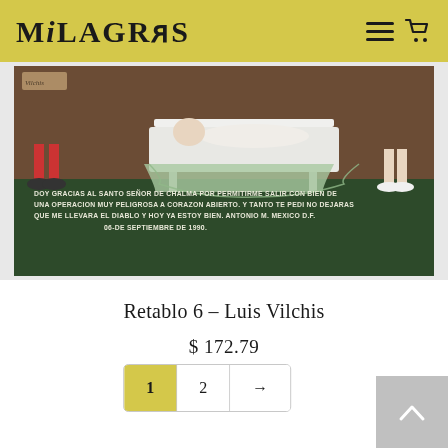MiLAGROS
[Figure (photo): A retablo (votive painting) on metal by Luis Vilchis depicting a patient on an operating table with a religious inscription in Spanish: 'DOY GRACIAS AL SANTO SEÑOR DE CHALMA POR PERMITIRME SALIR CON BIEN DE UNA OPERACION MUY PELIGROSA A CORAZON ABIERTO. Y TANTO TE PEDI NO DEJARAS QUE ME LLEVARA EL DIABLO Y HOY YA ESTOY BIEN. ANTONIO M. MEXICO D.F. 06-DE SEPTIEMBRE DE 1990.']
Retablo 6 – Luis Vilchis
$ 172.79